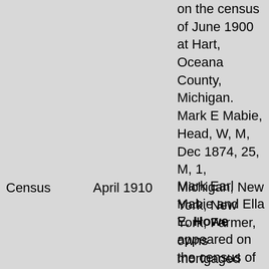on the census of June 1900 at Hart, Oceana County, Michigan. Mark E Mabie, Head, W, M, Dec 1874, 25, M, 1, Michigan, New York, New York, Farmer, owns mortgaged farm Ella P Mabie, Wife, W, F, June 1873, 26, M, 1, bore no children, Michigan, New York, New York.[3]
Census
April 1910
Mark Earl Mabie and Ella E. Howe appeared on the census of April 1910 at North State Road, Hart Township, Oceana County, Michigan. Mark E Mabie, Head, M, W, 35, M1, 11, Michigan, New York, Pennsylvania, Farms family farm.